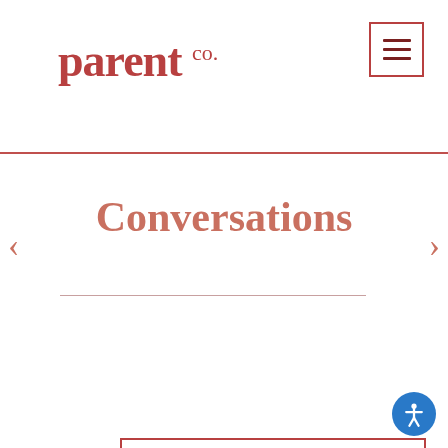parent co.
Conversations
View All
Wellbeing
Jailbreak From Maximum Security Infant Birthing Ce... (cont.)